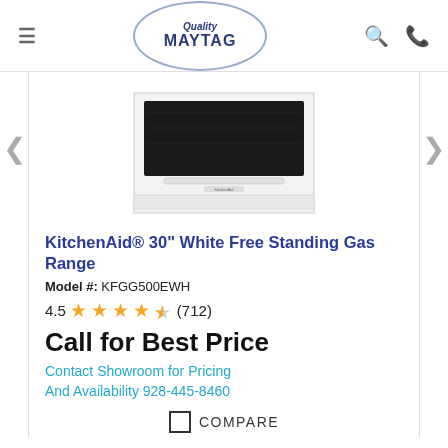Quality MAYTAG
[Figure (photo): KitchenAid white free standing gas range product image, showing the oven with black glass door and white body, partially visible from above]
KitchenAid® 30" White Free Standing Gas Range
Model #: KFGG500EWH
4.5 ★★★★½ (712)
Call for Best Price
Contact Showroom for Pricing And Availability 928-445-8460
COMPARE